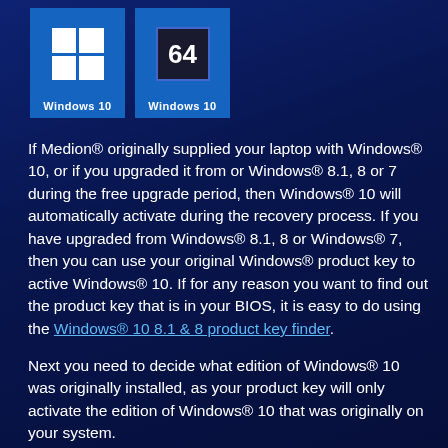[Figure (logo): Two Windows 10 logos side by side. Left logo shows a blue tile with the Windows 4-pane grid icon and 'Windows 10' label. Right logo shows a blue tile with '64' numeral and 'Windows 10' label.]
If Medion® originally supplied your laptop with Windows® 10, or if you upgraded it from or Windows® 8.1, 8 or 7 during the free upgrade period, then Windows® 10 will automatically activate during the recovery process. If you have upgraded from Windows® 8.1, 8 or Windows® 7, then you can use your original Windows® product key to active Windows® 10. If for any reason you want to find out the product key that is in your BIOS, it is easy to do using the Windows® 10 8.1 & 8 product key finder.
Next you need to decide what edition of Windows® 10 was originally installed, as your product key will only activate the edition of Windows® 10 that was originally on your system.